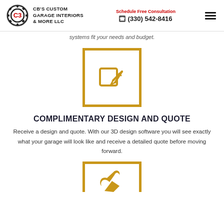CB'S CUSTOM GARAGE INTERIORS & MORE LLC | Schedule Free Consultation | (330) 542-8416
systems fit your needs and budget.
[Figure (illustration): Gold square border icon box containing a pencil/edit icon in gold color]
COMPLIMENTARY DESIGN AND QUOTE
Receive a design and quote. With our 3D design software you will see exactly what your garage will look like and receive a detailed quote before moving forward.
[Figure (illustration): Gold square border icon box (partially visible at bottom) containing a wrench/tool icon in gold color]